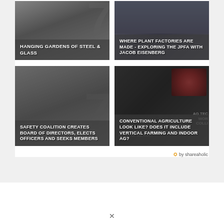[Figure (screenshot): Card image: blurred number 7 background - Hanging Gardens of Steel & Glass article thumbnail]
HANGING GARDENS OF STEEL & GLASS
[Figure (screenshot): Card image: city skyline background - WHERE PLANT FACTORIES ARE MADE - EXPLORING THE JPFA WITH JACOB EISENBERG article thumbnail]
WHERE PLANT FACTORIES ARE MADE - EXPLORING THE JPFA WITH JACOB EISENBERG
[Figure (screenshot): Card image: blurred background - SAFETY COALITION CREATES BOARD OF DIRECTORS, ELECTS OFFICERS AND SEEKS MEMBERS article thumbnail]
SAFETY COALITION CREATES BOARD OF DIRECTORS, ELECTS OFFICERS AND SEEKS MEMBERS
[Figure (screenshot): Card image: dark LED lights and ag text background - CONVENTIONAL AGRICULTURE LOOK LIKE? DOES IT INCLUDE VERTICAL FARMING AND INDOOR AG? article thumbnail]
CONVENTIONAL AGRICULTURE LOOK LIKE? DOES IT INCLUDE VERTICAL FARMING AND INDOOR AG?
by shareaholic